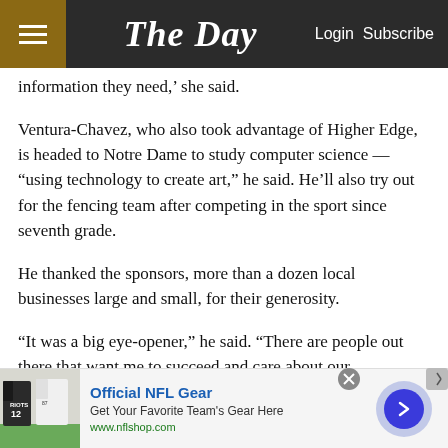The Day — Login Subscribe
information they need,' she said.
Ventura-Chavez, who also took advantage of Higher Edge, is headed to Notre Dame to study computer science — "using technology to create art," he said. He'll also try out for the fencing team after competing in the sport since seventh grade.
He thanked the sponsors, more than a dozen local businesses large and small, for their generosity.
"It was a big eye-opener," he said. "There are people out there that want me to succeed and care about our
[Figure (screenshot): Advertisement banner for Official NFL Gear showing NFL jerseys, text 'Official NFL Gear', 'Get Your Favorite Team's Gear Here', 'www.nflshop.com', with a blue arrow button and close X button]